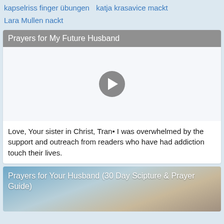kapselriss finger übungen   katja krasavice mackt   Lara Mullen nackt
Prayers for My Future Husband
[Figure (other): Video player with play button on white/light background]
Love, Your sister in Christ, Tran• I was overwhelmed by the support and outreach from readers who have had addiction touch their lives.
Prayers for Your Husband (30 Day Scipture & Prayer Guide)